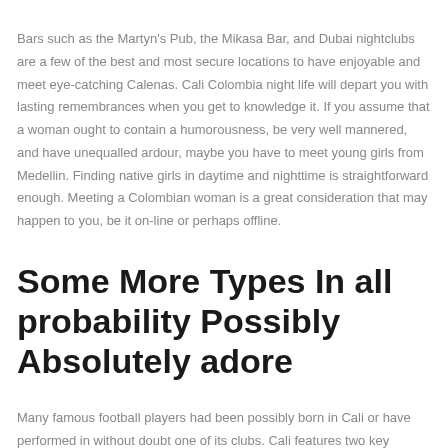Bars such as the Martyn's Pub, the Mikasa Bar, and Dubai nightclubs are a few of the best and most secure locations to have enjoyable and meet eye-catching Calenas. Cali Colombia night life will depart you with lasting remembrances when you get to knowledge it. If you assume that a woman ought to contain a humorousness, be very well mannered, and have unequalled ardour, maybe you have to meet young girls from Medellin. Finding native girls in daytime and nighttime is straightforward enough. Meeting a Colombian woman is a great consideration that may happen to you, be it on-line or perhaps offline.
Some More Types In all probability Possibly Absolutely adore
Many famous football players had been possibly born in Cali or have performed in without doubt one of its clubs. Cali features two key athletic